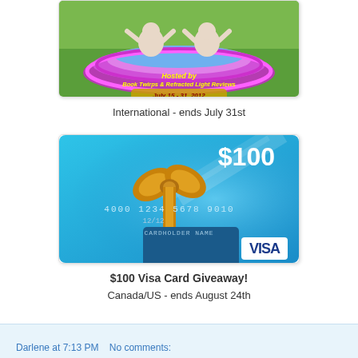[Figure (illustration): Promotional giveaway image with cartoon characters in a pool, text reading 'Hosted by Book Twirps & Refracted Light Reviews, July 15-31, 2012']
International - ends July 31st
[Figure (illustration): $100 Visa gift card with gold bow ribbon, showing card number 4000 1234 5678 9010, expiry 12/12, CARDHOLDER NAME, VISA logo]
$100 Visa Card Giveaway!
Canada/US - ends August 24th
Darlene at 7:13 PM   No comments: